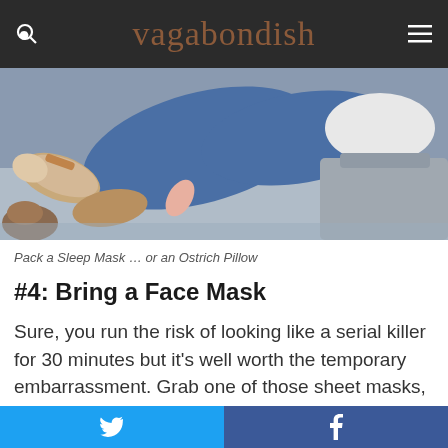vagabondish
[Figure (photo): Person lying down on a seat/floor with legs up, wearing jeans and sneakers, appears to be sleeping or resting in an unusual position, possibly on an airplane or train.]
Pack a Sleep Mask … or an Ostrich Pillow
#4: Bring a Face Mask
Sure, you run the risk of looking like a serial killer for 30 minutes but it's well worth the temporary embarrassment. Grab one of those sheet masks, head to the bathroom, wash